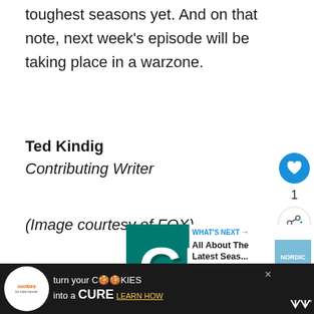toughest seasons yet. And on that note, next week's episode will be taking place in a warzone.
Ted Kindig
Contributing Writer
(Image courtesy of FOX)
[Figure (infographic): Teal advertisement banner with 'GIVE ME THOSE' text in large bold white letters with dark shadow, decorative heart outlines, and a close button.]
[Figure (infographic): What's Next panel showing a thumbnail image and text 'All About The Latest Seas...' with blue arrow label.]
[Figure (infographic): Bottom advertisement bar: 'cookies for kids cancer' logo on black background with text 'turn your COOKIES into a CURE LEARN HOW' and a close button.]